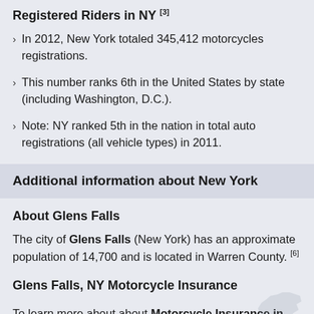Registered Riders in NY [3]
In 2012, New York totaled 345,412 motorcycles registrations.
This number ranks 6th in the United States by state (including Washington, D.C.).
Note: NY ranked 5th in the nation in total auto registrations (all vehicle types) in 2011.
Additional information about New York
About Glens Falls
The city of Glens Falls (New York) has an approximate population of 14,700 and is located in Warren County. [6]
Glens Falls, NY Motorcycle Insurance
To learn more about about Motorcycle Insurance in Glens Falls, or for additional resources related to